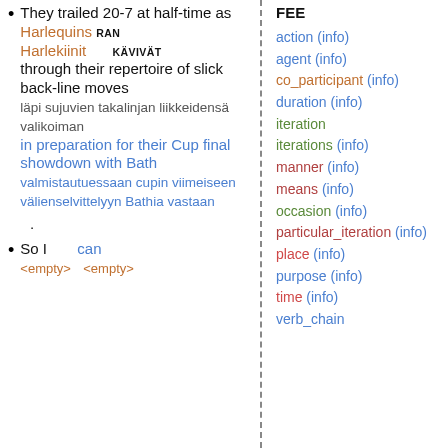They trailed 20-7 at half-time as Harlequins RAN Harlekiinit KÄVIVÄT through their repertoire of slick back-line moves
läpi sujuvien takalinjan liikkeidensä valikoiman
in preparation for their Cup final showdown with Bath
valmistautuessaan cupin viimeiseen välienselvittelyyn Bathia vastaan
.
So I   can
<empty> <empty>
FEE
action (info)
agent (info)
co_participant (info)
duration (info)
iteration
iterations (info)
manner (info)
means (info)
occasion (info)
particular_iteration (info)
place (info)
purpose (info)
time (info)
verb_chain